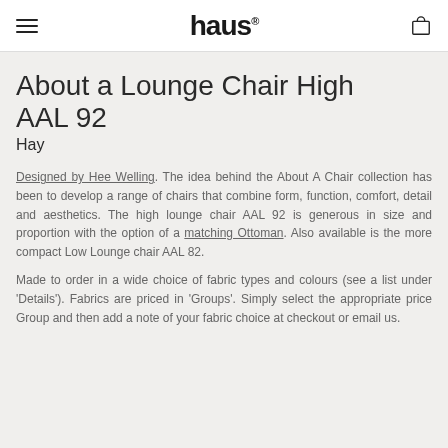haus®
About a Lounge Chair High AAL 92
Hay
Designed by Hee Welling. The idea behind the About A Chair collection has been to develop a range of chairs that combine form, function, comfort, detail and aesthetics. The high lounge chair AAL 92 is generous in size and proportion with the option of a matching Ottoman. Also available is the more compact Low Lounge chair AAL 82.
Made to order in a wide choice of fabric types and colours (see a list under 'Details'). Fabrics are priced in 'Groups'. Simply select the appropriate price Group and then add a note of your fabric choice at checkout or email us.